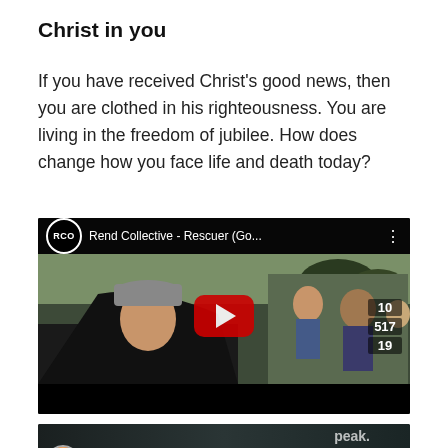Christ in you
If you have received Christ's good news, then you are clothed in his righteousness. You are living in the freedom of jubilee. How does change how you face life and death today?
[Figure (screenshot): YouTube video thumbnail for 'Rend Collective - Rescuer (Go...' showing a man in a car with a red YouTube play button overlay and the RCo channel logo]
[Figure (screenshot): Partial YouTube video thumbnail for 'The Gospel - Jimmy Needha...' showing a dark thumbnail with a circular avatar icon]